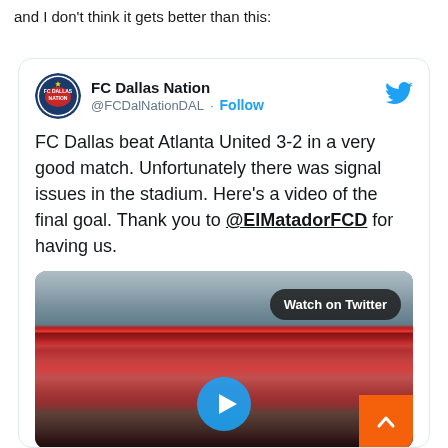and I don't think it gets better than this:
[Figure (screenshot): Embedded tweet from FC Dallas Nation (@FCDalNationDAL) with text: 'FC Dallas beat Atlanta United 3-2 in a very good match. Unfortunately there was signal issues in the stadium. Here's a video of the final goal. Thank you to @ElMatadorFCD for having us.' with a video thumbnail of a soccer stadium crowd.]